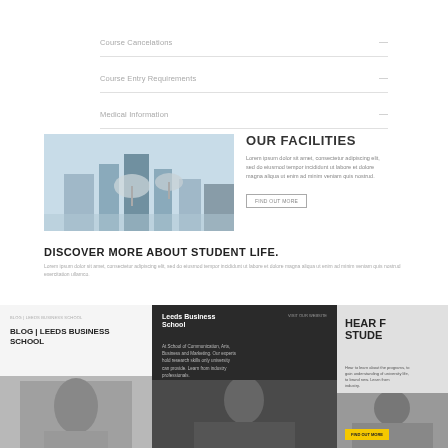Course Cancelations
Course Entry Requirements
Medical Information
OUR FACILITIES
[Figure (photo): Exterior architectural photo of a building with satellite dishes or large antenna structures against a blue sky]
Lorem ipsum dolor sit amet, consectetur adipiscing elit, sed do eiusmod tempor incididunt ut labore et dolore magna aliqua.
FIND OUT MORE
DISCOVER MORE ABOUT STUDENT LIFE.
Lorem ipsum dolor sit amet, consectetur adipiscing elit, sed do eiusmod tempor incididunt ut labore et dolore magna aliqua ut enim.
Blog | Leeds Business School
Leeds Business School
At School of Communication, Arts, Business and Marketing. Our experts hold research skills only university can provide.
HEAR FROM STUDENTS
Hear to learn about the programs, to gain understanding of university life, to brand new. Learn from industry.
[Figure (photo): Photo of a student]
[Figure (photo): Photo of a person smiling]
[Figure (photo): Photo of group of students]